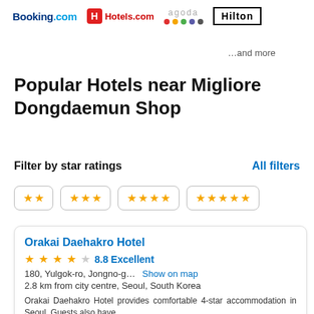[Figure (logo): Partner logos: Booking.com, Hotels.com, Agoda, Hilton]
…and more
Popular Hotels near Migliore Dongdaemun Shop
Filter by star ratings    All filters
[Figure (infographic): Star rating filter buttons: 2 stars, 3 stars, 4 stars, 5 stars]
Orakai Daehakro Hotel
★★★★☆ 8.8 Excellent
180, Yulgok-ro, Jongno-g...  Show on map
2.8 km from city centre, Seoul, South Korea
Orakai Daehakro Hotel provides comfortable 4-star accommodation in Seoul. Guests also have
View Deals